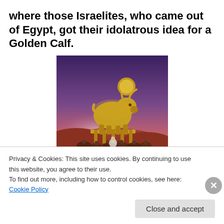where those Israelites, who came out of Egypt, got their idolatrous idea for a Golden Calf.
[Figure (illustration): A painting depicting a golden calf idol standing on a raised platform supported by pillars, with a sun disk on its head and a crowd of worshippers below, set against a dramatic red and purple sky.]
Privacy & Cookies: This site uses cookies. By continuing to use this website, you agree to their use.
To find out more, including how to control cookies, see here: Cookie Policy
Close and accept